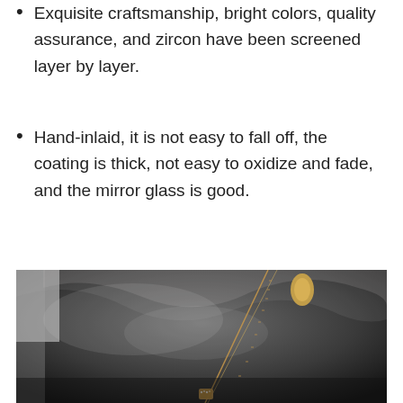Exquisite craftsmanship, bright colors, quality assurance, and zircon have been screened layer by layer.
Hand-inlaid, it is not easy to fall off, the coating is thick, not easy to oxidize and fade, and the mirror glass is good.
[Figure (photo): A gold necklace with a chain and a teardrop-shaped pendant with zircon inlaid on a dark background with draped fabric.]